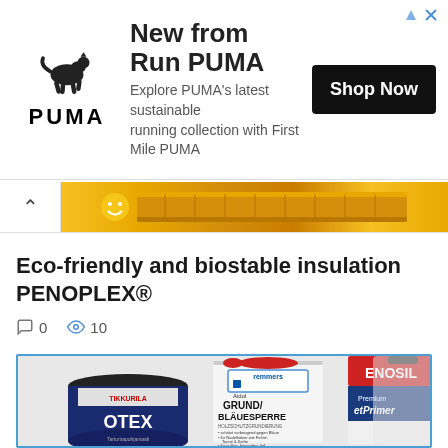[Figure (other): PUMA advertisement banner with PUMA logo, leaping cat, headline 'New from Run PUMA', subtext 'Explore PUMA's latest sustainable running collection with First Mile PUMA', and a 'Shop Now' button. Ad close icons in top right.]
[Figure (other): Carousel navigation bar with left chevron/arrow and decorative image strip with sun and golden/yellow gradient pattern.]
Eco-friendly and biostable insulation PENOPLEX®
0   10 (comment count 0, views 10)
[Figure (photo): Photo of paint/primer product cans including TIKKURILA OTEX, Remmers Aidol GRUND/BLÄUESPERRE, and PENOSIL Premium WetPrimer products arranged together.]